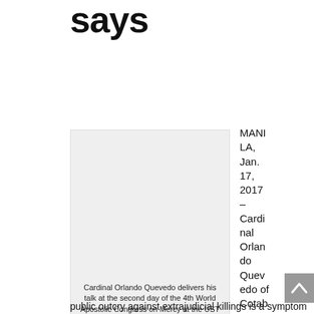says
[Figure (photo): Cardinal Orlando Quevedo delivering his talk at the second day of the 4th World Apostolic Congress on Mercy at the UST Quadricentennial Pavilion in Manila, Jan. 17.]
Cardinal Orlando Quevedo delivers his talk at the second day of the 4th World Apostolic Congress on Mercy at the UST Quadricentennial Pavilion in Manila, Jan. 17. (CBCPNews)
MANILA, Jan. 17, 2017 – Cardinal Orlando Quevedo of Cotabato said the lack of
public outcry against extrajudicial killings is a symptom